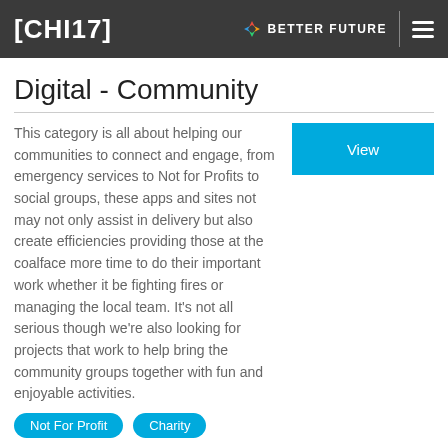[CHI17]  BETTER FUTURE
Digital - Community
This category is all about helping our communities to connect and engage, from emergency services to Not for Profits to social groups, these apps and sites not may not only assist in delivery but also create efficiencies providing those at the coalface more time to do their important work whether it be fighting fires or managing the local team. It's not all serious though we're also looking for projects that work to help bring the community groups together with fun and enjoyable activities.
Not For Profit
Charity
Digital - EdTech